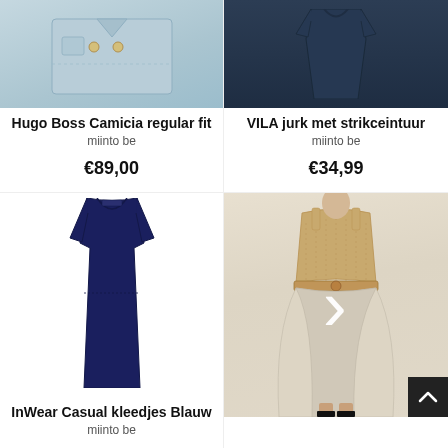[Figure (photo): Hugo Boss light blue dress shirt folded, showing collar and gold buttons]
Hugo Boss Camicia regular fit
miinto be
€89,00
[Figure (photo): VILA navy blue dress with tie waist, top portion visible]
VILA jurk met strikceintuur
miinto be
€34,99
[Figure (photo): InWear casual navy blue short-sleeve fitted dress on white background]
InWear Casual kleedjes Blauw
miinto be
[Figure (photo): Beige/champagne dress with lace top and flared skirt worn by model, white chevron arrow overlay]